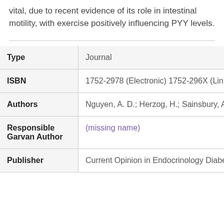vital, due to recent evidence of its role in intestinal motility, with exercise positively influencing PYY levels.
| Field | Value |
| --- | --- |
| Type | Journal |
| ISBN | 1752-2978 (Electronic) 1752-296X (Lin |
| Authors | Nguyen, A. D.; Herzog, H.; Sainsbury, A.; |
| Responsible Garvan Author | (missing name) |
| Publisher | Current Opinion in Endocrinology Diabe |